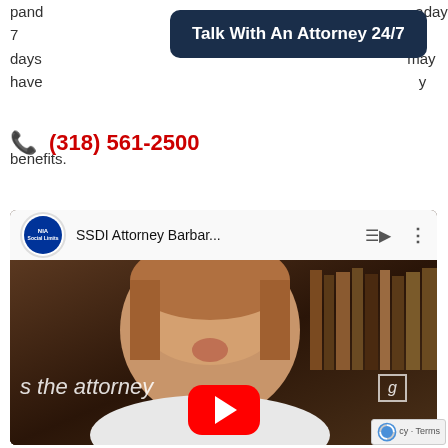pand... today, 7 days ... may have ... benefits.
[Figure (other): Dark blue rounded rectangle banner reading 'Talk With An Attorney 24/7']
(318) 561-2500
[Figure (screenshot): YouTube video thumbnail showing SSDI Attorney Barbara speaking, with caption 's the attorney g' and play button overlay. Video title: 'SSDI Attorney Barbar...']